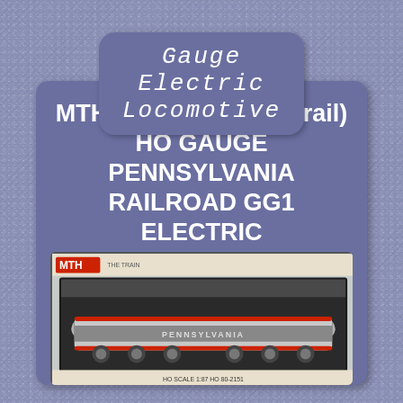Gauge Electric Locomotive
MTH 80-2151-5 AC (3-rail) HO GAUGE PENNSYLVANIA RAILROAD GG1 ELECTRIC LOCOMOTIVE
[Figure (photo): Photo of MTH HO Gauge Pennsylvania Railroad GG1 Electric Locomotive in packaging box, silver locomotive with red and gray striping, MTH logo visible at top left of package]